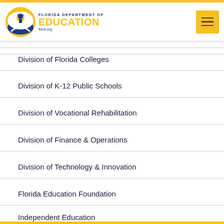Florida Department of Education — fldoe.org
Division of Florida Colleges
Division of K-12 Public Schools
Division of Vocational Rehabilitation
Division of Finance & Operations
Division of Technology & Innovation
Florida Education Foundation
Independent Education